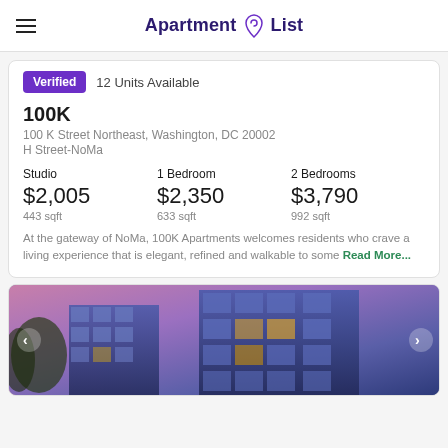Apartment List
Verified  12 Units Available
100K
100 K Street Northeast, Washington, DC 20002
H Street-NoMa
Studio $2,005 443 sqft
1 Bedroom $2,350 633 sqft
2 Bedrooms $3,790 992 sqft
At the gateway of NoMa, 100K Apartments welcomes residents who crave a living experience that is elegant, refined and walkable to some Read More...
[Figure (photo): Exterior photo of a modern multi-story apartment building at dusk with purple/pink sky background]